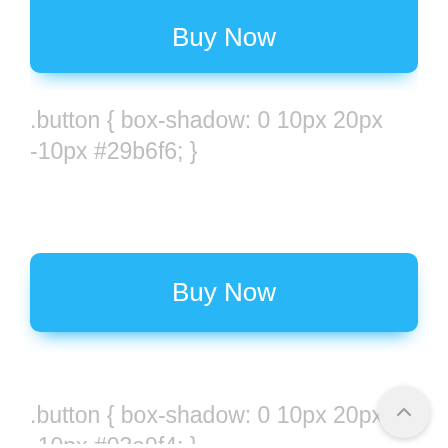[Figure (screenshot): Blue 'Buy Now' button partially visible at top, cut off, with box-shadow styling using #29b6f6]
.button { box-shadow: 0 10px 20px -10px #29b6f6; }
[Figure (screenshot): Blue 'Buy Now' button with box-shadow using #03a9f4]
.button { box-shadow: 0 10px 20px -10px #03a9f4; }
[Figure (screenshot): Blue 'Buy Now' button partially visible at bottom]
.button { box-shadow: 0 10px